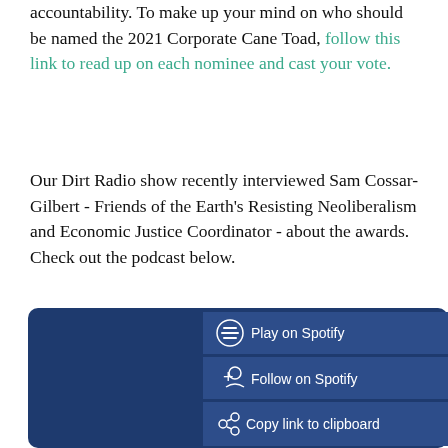accountability. To make up your mind on who should be named the 2021 Corporate Cane Toad, follow this link to read up on each nominee and cast your vote.
Our Dirt Radio show recently interviewed Sam Cossar-Gilbert - Friends of the Earth's Resisting Neoliberalism and Economic Justice Coordinator - about the awards. Check out the podcast below.
[Figure (screenshot): Spotify podcast embed widget with dark navy blue background showing three buttons: 'Play on Spotify', 'Follow on Spotify', and 'Copy link to clipboard', each with corresponding icons.]